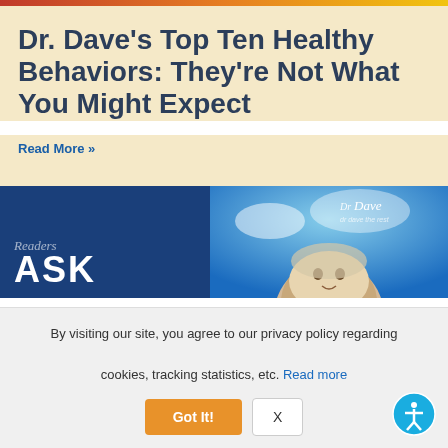[Figure (photo): Colorful top image bar strip at very top of page]
Dr. Dave’s Top Ten Healthy Behaviors: They’re Not What You Might Expect
Read More »
[Figure (illustration): Two-panel banner: left panel dark blue with cursive 'Readers' and bold 'ASK' text; right panel shows blue sky background with elderly person's face and a signature logo 'Dr Dave']
By visiting our site, you agree to our privacy policy regarding cookies, tracking statistics, etc. Read more
Got It!
X